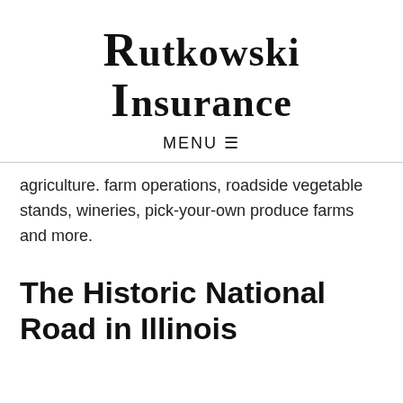Rutkowski Insurance
MENU ≡
agriculture. farm operations, roadside vegetable stands, wineries, pick-your-own produce farms and more.
The Historic National Road in Illinois